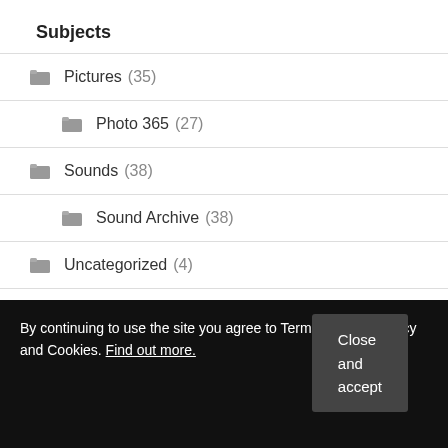Subjects
Pictures (35)
Photo 365 (27)
Sounds (38)
Sound Archive (38)
Uncategorized (4)
Words (106)
Computing (19)
By continuing to use the site you agree to Terms of Use, Privacy and Cookies. Find out more.
Close and accept